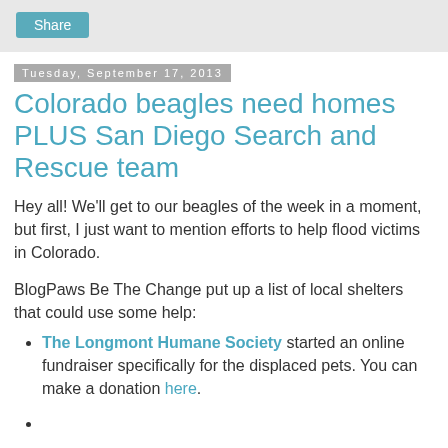Share
Tuesday, September 17, 2013
Colorado beagles need homes PLUS San Diego Search and Rescue team
Hey all! We'll get to our beagles of the week in a moment, but first, I just want to mention efforts to help flood victims in Colorado.
BlogPaws Be The Change put up a list of local shelters that could use some help:
The Longmont Humane Society started an online fundraiser specifically for the displaced pets. You can make a donation here.
The Humane Society of Boulder Valley has been taking in pets and is taking donations here.